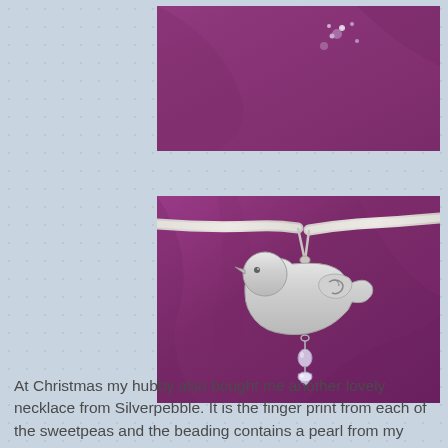[Figure (photo): Partial photo of small crystal/rhinestone jewelry against purple fabric background]
[Figure (photo): Silver bird-shaped pendant necklace with decorative wing detail and crystal drop, on a ribbon/cord, against purple fabric background]
At Christmas my hubby also bought me another lovely necklace from Silverpebble.  It is the finger print from each of the sweetpeas and the beading contains a pearl from my